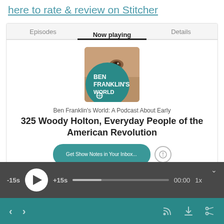here to rate & review on Stitcher
[Figure (screenshot): Stitcher podcast app screenshot showing Now playing tab with Ben Franklin's World podcast cover art]
Ben Franklin's World: A Podcast About Early
325 Woody Holton, Everyday People of the American Revolution
[Figure (screenshot): Audio player controls bar with -15s, play button, +15s, progress bar, 00:00 timestamp, and 1x speed]
[Figure (screenshot): Bottom navigation bar with back/forward chevrons and RSS, download, share icons]